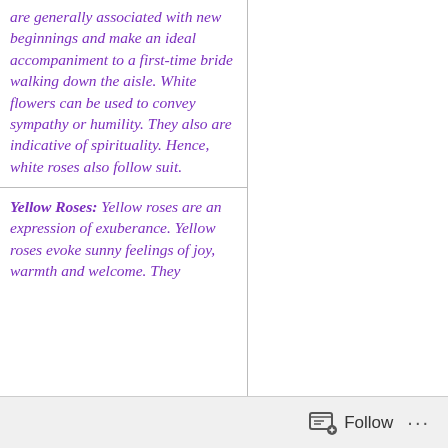are generally associated with new beginnings and make an ideal accompaniment to a first-time bride walking down the aisle. White flowers can be used to convey sympathy or humility. They also are indicative of spirituality. Hence, white roses also follow suit.
Yellow Roses: Yellow roses are an expression of exuberance. Yellow roses evoke sunny feelings of joy, warmth and welcome. They are symbolic of...
Follow ···